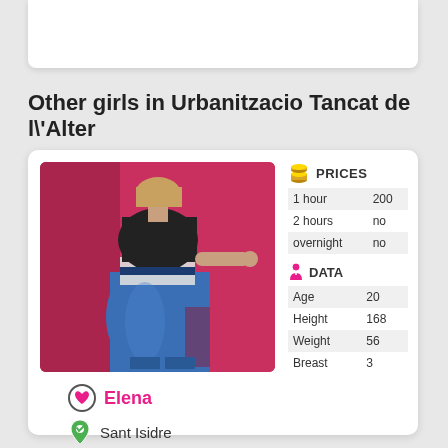Other girls in Urbanitzacio Tancat de l'Alter
[Figure (photo): Photo of a woman from behind wearing a black top and blue jeans, posed against a pink/red wall]
|  | PRICES |  |
| --- | --- | --- |
| 1 hour | 200 |
| 2 hours | no |
| overnight | no |
|  | DATA |  |
| --- | --- | --- |
| Age | 20 |
| Height | 168 |
| Weight | 56 |
| Breast | 3 |
Elena
Sant Isidre
34601226012